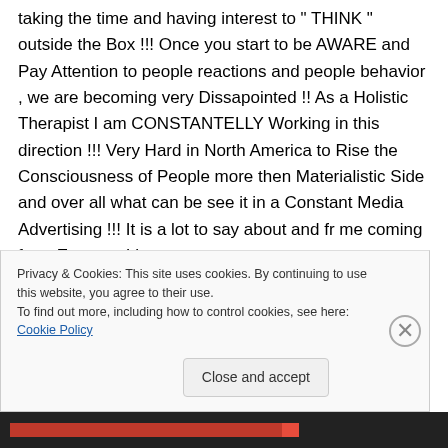taking the time and having interest to " THINK " outside the Box !!! Once you start to be AWARE and Pay Attention to people reactions and people behavior , we are becoming very Dissapointed !! As a Holistic Therapist I am CONSTANTELLY Working in this direction !!! Very Hard in North America to Rise the Consciousness of People more then Materialistic Side and over all what can be see it in a Constant Media Advertising !!! It is a lot to say about and fr me coming from Europe , I have
Privacy & Cookies: This site uses cookies. By continuing to use this website, you agree to their use.
To find out more, including how to control cookies, see here: Cookie Policy
Close and accept